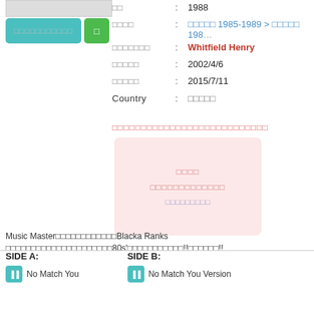[Figure (other): Album thumbnail image placeholder, gray/white rectangle]
Button: cyan action button and green button
年代 : 1988
カテゴリ : カテゴリ 1985-1989 > カテゴリ 198...
アーティスト : Whitfield Henry
登録日 : 2002/4/6
更新日 : 2015/7/11
Country : テキスト
Pink warning text row (Japanese placeholder characters)
Pink box with Japanese placeholder text and blue subtext
Music Masterテキストテキストテキストテキスト Blacka Ranks テキストテキストテキストテキストテキスト80s'テキストテキストテキスト!!テキストテキスト!!
SIDE A:
SIDE B:
No Match You
No Match You Version